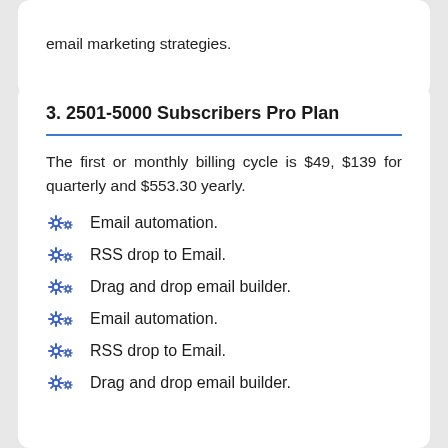email marketing strategies.
3. 2501-5000 Subscribers Pro Plan
The first or monthly billing cycle is $49, $139 for quarterly and $553.30 yearly.
Email automation.
RSS drop to Email.
Drag and drop email builder.
Email automation.
RSS drop to Email.
Drag and drop email builder.